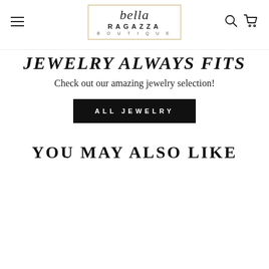[Figure (logo): Bella Ragazza Boutique logo inside a gold-bordered rectangle, with cursive 'bella' script above 'RAGAZZA' and 'BOUTIQUE' in spaced caps]
JEWELRY ALWAYS FITS
Check out our amazing jewelry selection!
ALL JEWELRY
YOU MAY ALSO LIKE